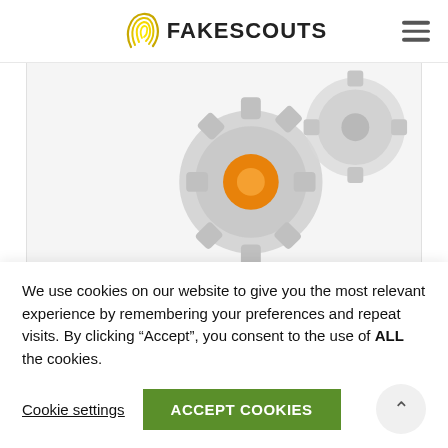FAKESCOUTS
[Figure (illustration): Two interlocking gear icons, one gray and one with an orange center, illustration style on a light gray background]
Social Commerce
Follow Influencers
We use cookies on our website to give you the most relevant experience by remembering your preferences and repeat visits. By clicking “Accept”, you consent to the use of ALL the cookies.
Cookie settings   ACCEPT COOKIES